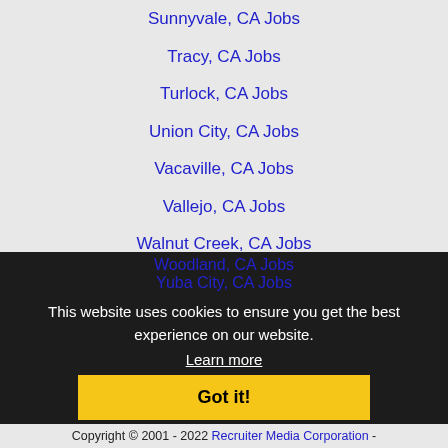Sunnyvale, CA Jobs
Tracy, CA Jobs
Turlock, CA Jobs
Union City, CA Jobs
Vacaville, CA Jobs
Vallejo, CA Jobs
Walnut Creek, CA Jobs
Watsonville, CA Jobs
West Sacramento, CA Jobs
Woodland, CA Jobs
Yuba City, CA Jobs
This website uses cookies to ensure you get the best experience on our website.
Learn more
Got it!
Home | Profile and Resume | Browse Jobs | Employers | Other Cities | Clients | About Us | Contact Us | Help | Terms of Use | Register / Log In
Copyright © 2001 - 2022 Recruiter Media Corporation -